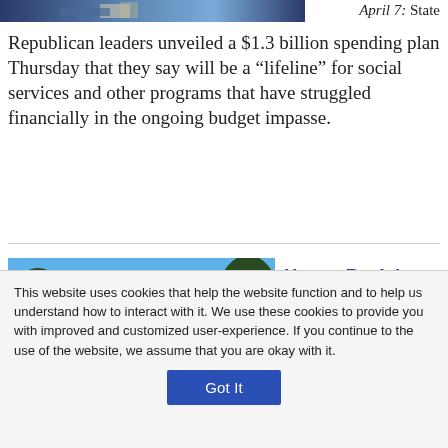[Figure (photo): Partial view of people at a podium or legislative setting, blue tones]
April 7: State Republican leaders unveiled a $1.3 billion spending plan Thursday that they say will be a “lifeline” for social services and other programs that have struggled financially in the ongoing budget impasse.
[Figure (photo): State capitol building with dome against blue sky, trees in foreground]
House Back in Session But No Sign of Budget
This website uses cookies that help the website function and to help us understand how to interact with it. We use these cookies to provide you with improved and customized user-experience. If you continue to the use of the website, we assume that you are okay with it.